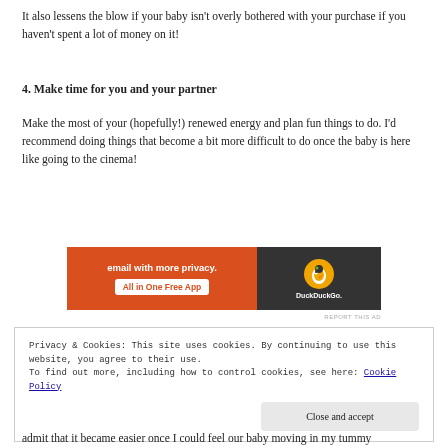It also lessens the blow if your baby isn't overly bothered with your purchase if you haven't spent a lot of money on it!
4. Make time for you and your partner
Make the most of your (hopefully!) renewed energy and plan fun things to do. I'd recommend doing things that become a bit more difficult to do once the baby is here like going to the cinema!
[Figure (other): DuckDuckGo advertisement banner: 'email with more privacy. All in One Free App' with DuckDuckGo logo on dark background]
REPORT THIS AD
Privacy & Cookies: This site uses cookies. By continuing to use this website, you agree to their use.
To find out more, including how to control cookies, see here: Cookie Policy
Close and accept
admit that it became easier once I could feel our baby moving in my tummy